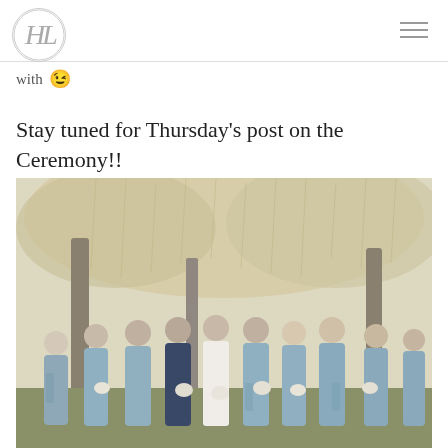HL logo with hamburger menu
with 😉
Stay tuned for Thursday's post on the Ceremony!!
[Figure (photo): Group of bridesmaids in dusty blue/slate dresses standing outdoors under large trees with Spanish moss. A woman in a dark navy dress stands among them. They are holding white bouquets. The bride in white is visible near the center. Bright, airy outdoor wedding photography setting.]